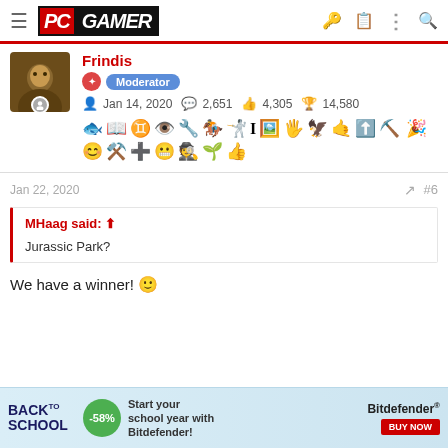PC GAMER
Frindis
Moderator
Jan 14, 2020  2,651  4,305  14,580
[Figure (infographic): Row of gaming achievement/badge icons]
Jan 22, 2020  #6
MHaag said:
Jurassic Park?
We have a winner! 🙂
[Figure (infographic): Advertisement: Back to School -58% Start your school year with Bitdefender! BUY NOW]